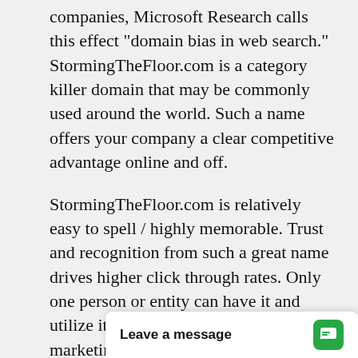companies, Microsoft Research calls this effect "domain bias in web search." StormingTheFloor.com is a category killer domain that may be commonly used around the world. Such a name offers your company a clear competitive advantage online and off.
StormingTheFloor.com is relatively easy to spell / highly memorable. Trust and recognition from such a great name drives higher click through rates. Only one person or entity can have it and utilize it online and offline for marketing and advertising (and maintain all future resale rights at any price or profit level).
Establish your company, product or service dominance with an outstanding .Com brand. For existing brands, it is enforce and protect